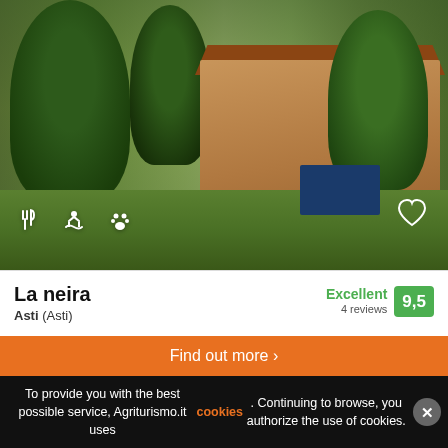[Figure (photo): Outdoor photo of La Neira Piedmontese farmhouse with garden, trees, outdoor seating area, and a blue garden table. Amenity icons (restaurant, pool, pets) visible at bottom-left; heart/favorites icon at bottom-right.]
La neira
Asti (Asti)
Excellent 9,5
4 reviews
Piedmontese farmhouse with wading pond 15 minutes from Asti, family farmhouse is ideal for anyone seeking tranquility. Rich breakfast, possibility of dinners.
Insert your travel dates to see the correct price
Find out more >
To provide you with the best possible service, Agriturismo.it uses cookies. Continuing to browse, you authorize the use of cookies.